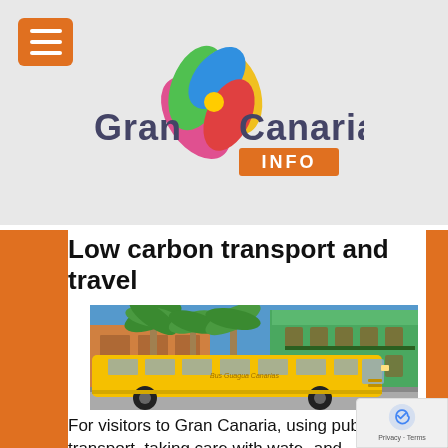[Figure (logo): Gran Canaria Info logo with colorful flower/butterfly graphic and INFO label in orange rectangle]
Low carbon transport and travel
[Figure (photo): A yellow bus parked in front of a green colonial building with palm trees under a blue sky]
For visitors to Gran Canaria, using public transport, taking care with water and electricity consumption and